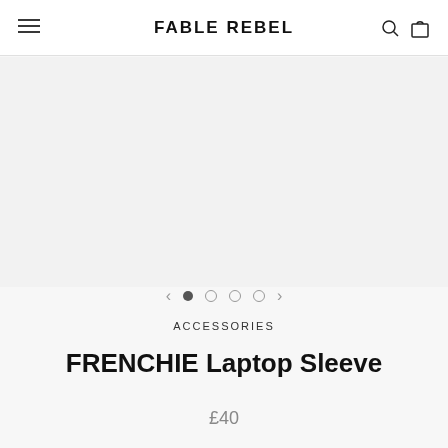FABLE REBEL
[Figure (other): Product image area - empty/light grey background for FRENCHIE Laptop Sleeve product carousel with navigation arrows and four dots (first dot filled/active)]
ACCESSORIES
FRENCHIE Laptop Sleeve
£40